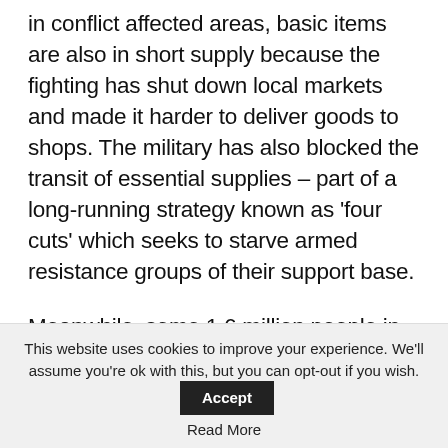in conflict affected areas, basic items are also in short supply because the fighting has shut down local markets and made it harder to deliver goods to shops. The military has also blocked the transit of essential supplies – part of a long-running strategy known as 'four cuts' which seeks to starve armed resistance groups of their support base.
Meanwhile, some 1.6 million people in Myanmar have lost their jobs in 2021 due to the pandemic and coup, and armed conflict has left many farmers and daily labourers unable to work. Last
This website uses cookies to improve your experience. We'll assume you're ok with this, but you can opt-out if you wish. Accept
Read More